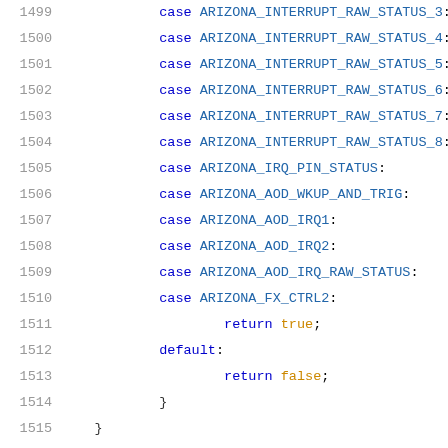[Figure (screenshot): Source code listing showing C code lines 1499-1520, with line numbers on the left, featuring case statements for ARIZONA interrupt registers, return statements, default case, a #define for WM8997_MAX_REGISTER, and a const struct declaration for regmap_config.]